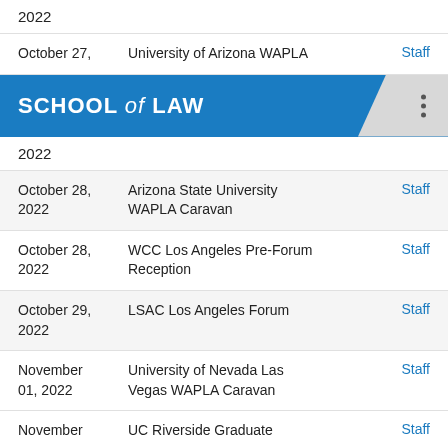2022
| Date | Event | Attendee |
| --- | --- | --- |
| October 27, | University of Arizona WAPLA | Staff |
| 2022 |  |  |
| 2022 |  |  |
| October 28, 2022 | Arizona State University WAPLA Caravan | Staff |
| October 28, 2022 | WCC Los Angeles Pre-Forum Reception | Staff |
| October 29, 2022 | LSAC Los Angeles Forum | Staff |
| November 01, 2022 | University of Nevada Las Vegas WAPLA Caravan | Staff |
| November | UC Riverside Graduate | Staff |
[Figure (logo): University School of Law banner with blue background and white text reading SCHOOL of LAW]